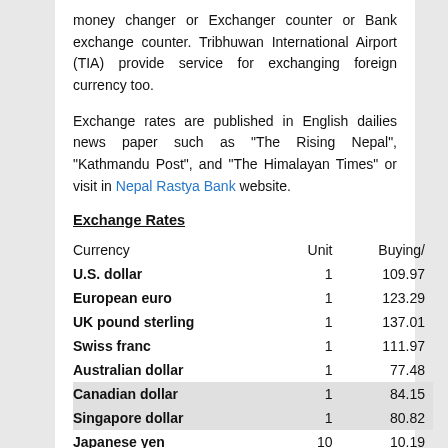money changer or Exchanger counter or Bank exchange counter. Tribhuwan International Airport (TIA) provide service for exchanging foreign currency too.
Exchange rates are published in English dailies news paper such as "The Rising Nepal", "Kathmandu Post", and "The Himalayan Times" or visit in Nepal Rastya Bank website.
Exchange Rates
| Currency | Unit | Buying/ |
| --- | --- | --- |
| U.S. dollar | 1 | 109.97 |
| European euro | 1 | 123.29 |
| UK pound sterling | 1 | 137.01 |
| Swiss franc | 1 | 111.97 |
| Australian dollar | 1 | 77.48 |
| Canadian dollar | 1 | 84.15 |
| Singapore dollar | 1 | 80.82 |
| Japanese yen | 10 | 10.19 |